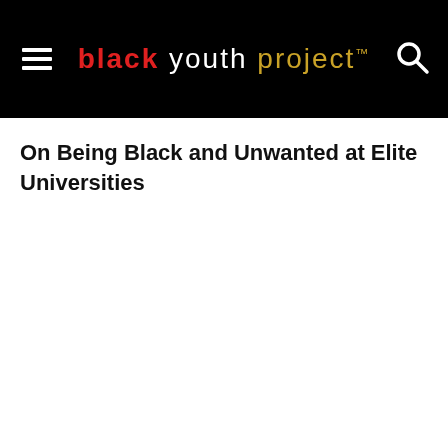black youth project™
On Being Black and Unwanted at Elite Universities